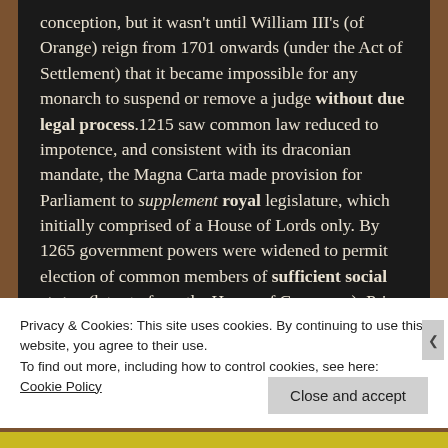conception, but it wasn't until William III's (of Orange) reign from 1701 onwards (under the Act of Settlement) that it became impossible for any monarch to suspend or remove a judge without due legal process.1215 saw common law reduced to impotence, and consistent with its draconian mandate, the Magna Carta made provision for Parliament to supplement royal legislature, which initially comprised of a House of Lords only. By 1265 government powers were widened to permit election of common members of sufficient social status (later to form the House of Commons). Prior to the introduction of parliamentary legislation...
Privacy & Cookies: This site uses cookies. By continuing to use this website, you agree to their use.
To find out more, including how to control cookies, see here:
Cookie Policy
Close and accept